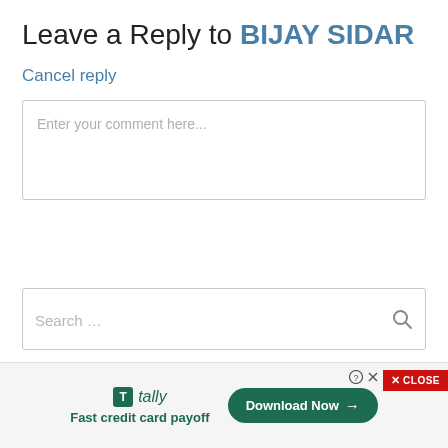Leave a Reply to BIJAY SIDAR
Cancel reply
Enter your comment here...
Search …
[Figure (screenshot): Close button with red background and X CLOSE label]
[Figure (screenshot): Tally advertisement banner: Tally logo, Fast credit card payoff tagline, Download Now button]